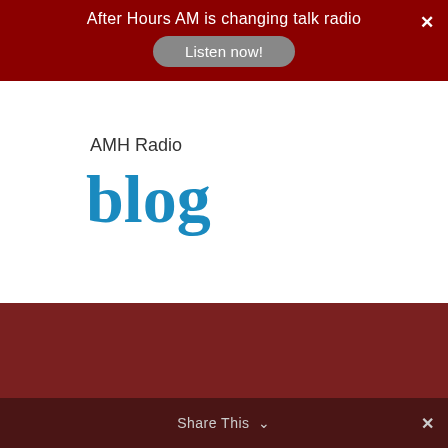After Hours AM is changing talk radio
Listen now!
AMH Radio
blog
Be Social
Follow @amhaunted   454K followers
Follow America's Most Haunted
Share This